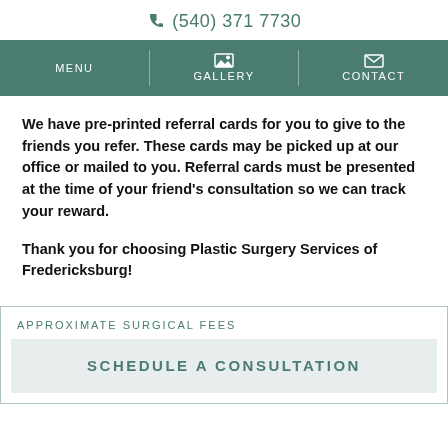(540) 371 7730
We have pre-printed referral cards for you to give to the friends you refer. These cards may be picked up at our office or mailed to you. Referral cards must be presented at the time of your friend's consultation so we can track your reward.
Thank you for choosing Plastic Surgery Services of Fredericksburg!
APPROXIMATE SURGICAL FEES
SCHEDULE A CONSULTATION